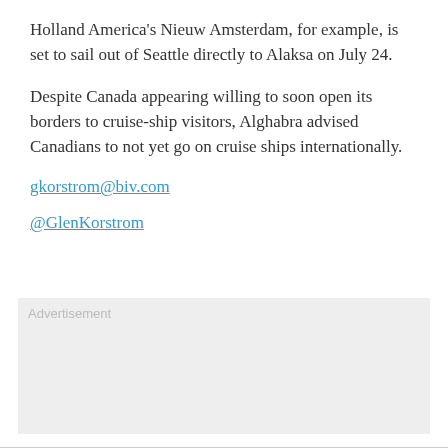Holland America's Nieuw Amsterdam, for example, is set to sail out of Seattle directly to Alaksa on July 24.
Despite Canada appearing willing to soon open its borders to cruise-ship visitors, Alghabra advised Canadians to not yet go on cruise ships internationally.
gkorstrom@biv.com
@GlenKorstrom
[Figure (other): Advertisement placeholder box with light grey background and 'Advertisement' label text.]